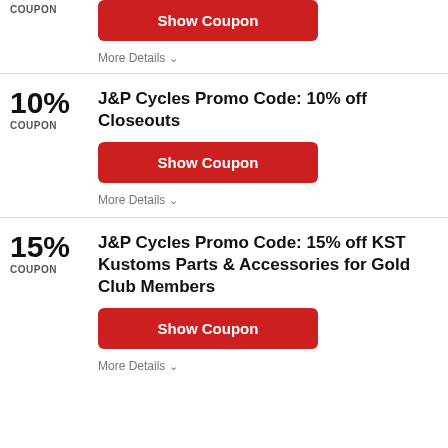COUPON
[Figure (other): Show Coupon red button (top partial)]
More Details
10% COUPON
J&P Cycles Promo Code: 10% off Closeouts
[Figure (other): Show Coupon red button]
More Details
15% COUPON
J&P Cycles Promo Code: 15% off KST Kustoms Parts & Accessories for Gold Club Members
[Figure (other): Show Coupon red button]
More Details